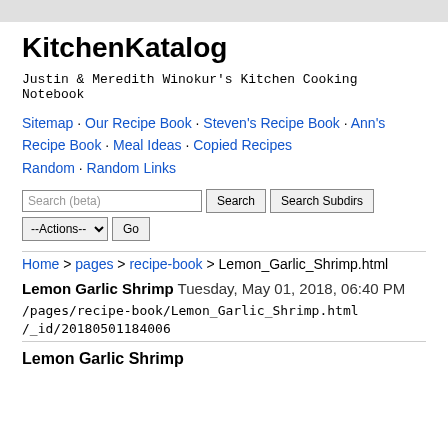KitchenKatalog
Justin & Meredith Winokur's Kitchen Cooking Notebook
Sitemap · Our Recipe Book · Steven's Recipe Book · Ann's Recipe Book · Meal Ideas · Copied Recipes Random · Random Links
Search (beta) [Search] [Search Subdirs] [--Actions-- ▾] [Go]
Home > pages > recipe-book > Lemon_Garlic_Shrimp.html
Lemon Garlic Shrimp Tuesday, May 01, 2018, 06:40 PM
/pages/recipe-book/Lemon_Garlic_Shrimp.html
/_id/20180501184006
Lemon Garlic Shrimp